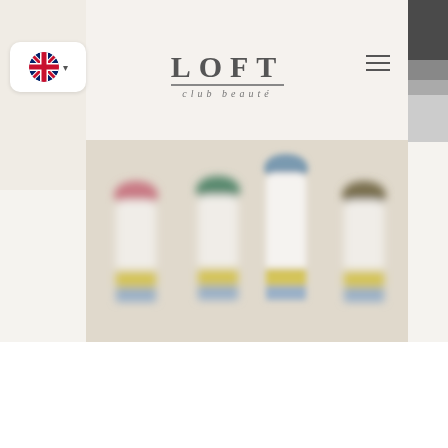[Figure (logo): LOFT club beauté logo with brand name in large spaced letters and subtitle in italic]
[Figure (screenshot): Screenshot of LOFT club beauté website showing header navigation with language selector (UK flag), centered logo, hamburger menu, and a row of four blurred cosmetic product bottles with colored caps and yellow/blue banded labels against a beige background]